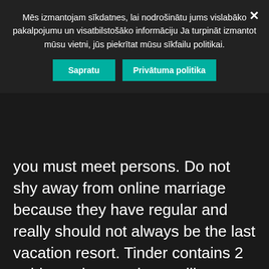Mēs izmantojam sīkdatnes, lai nodrošinātu jums vislabāko pakalpojumu un visatbilstošāko informāciju Ja turpināt izmantot mūsu vietni, jūs piekrītat mūsu sīkfailu politikai.
Sapratu | Privātuma politika
you must meet persons. Do not shy away from online marriage because they have regular and really should not always be the last vacation resort. Tinder contains 2 paid out plans and you will probably choose Tinder Plus or Tinder Yellow metal. Plus gives you limitless would like, 5 very likes per day, one improve a month, eliminates ads, and lets you backtrack in your last swipe is it healthy to by option swipe the mistaken method. Gold involves all these features, allows you to see who also favored you, and offers you prime recommendations daily but at this moment even more